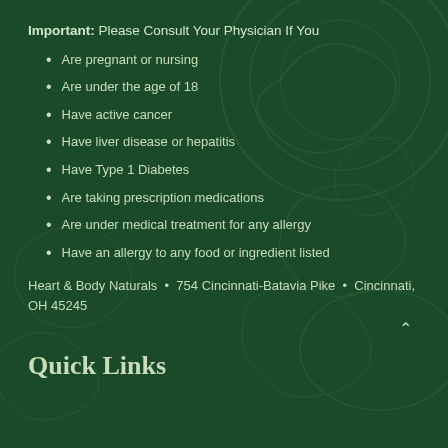Important: Please Consult Your Physician If You
Are pregnant or nursing
Are under the age of 18
Have active cancer
Have liver disease or hepatitis
Have Type 1 Diabetes
Are taking prescription medications
Are under medical treatment for any allergy
Have an allergy to any food or ingredient listed
Heart & Body Naturals  •  754 Cincinnati-Batavia Pike  •  Cincinnati, OH 45245
Quick Links